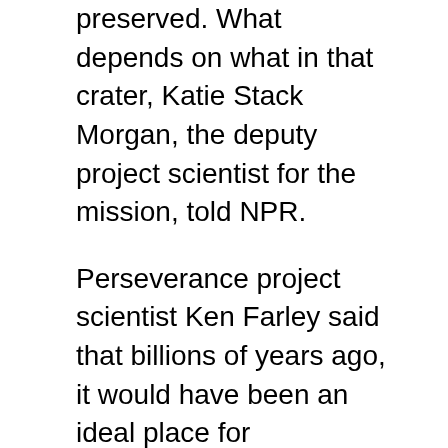preserved. What depends on what in that crater, Katie Stack Morgan, the deputy project scientist for the mission, told NPR.
Perseverance project scientist Ken Farley said that billions of years ago, it would have been an ideal place for microorganisms to have lived, "and it is also a wonderful place for those microorganisms to be preserved so that we can find them now."
Perseverance is a significantly upgraded version of its predecessor, Curiosity, which explored Mars in 2012. New instruments include a better drill to secure core samples, instruments to analyze Martian mineralogy,